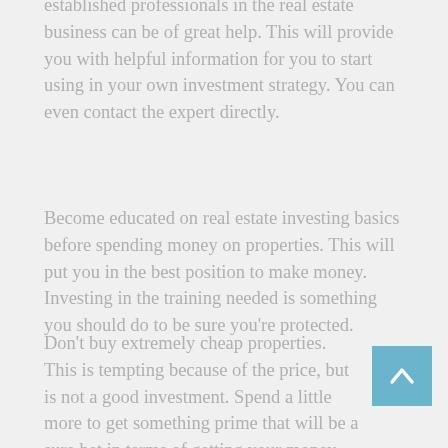established professionals in the real estate business can be of great help. This will provide you with helpful information for you to start using in your own investment strategy. You can even contact the expert directly.
Become educated on real estate investing basics before spending money on properties. This will put you in the best position to make money. Investing in the training needed is something you should do to be sure you're protected.
Don't buy extremely cheap properties. This is tempting because of the price, but is not a good investment. Spend a little more to get something prime that will be a sure bet in terms of getting your money back.
Keep a handyman nearby when you are considering buying a property. Otherwise, you